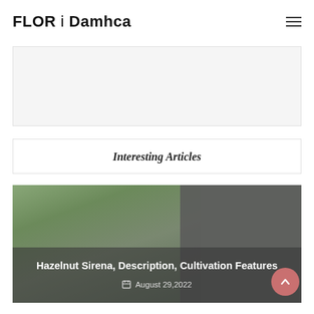FLOR i Damhca
[Figure (other): Advertisement placeholder box, light gray background]
Interesting Articles
[Figure (photo): Photo of a person picking hazelnuts from a tree, with dark overlay showing article title and date]
Hazelnut Sirena, Description, Cultivation Features
August 29,2022